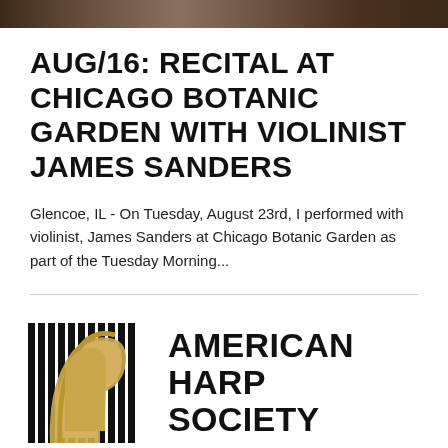[Figure (photo): Photo strip at top of page showing musicians or performers, partially visible]
AUG/16: RECITAL AT CHICAGO BOTANIC GARDEN WITH VIOLINIST JAMES SANDERS
Glencoe, IL - On Tuesday, August 23rd, I performed with violinist, James Sanders at Chicago Botanic Garden as part of the Tuesday Morning...
[Figure (logo): American Harp Society logo with vertical black and gold bars forming a harp shape with a gold harp figure inside, next to the text AMERICAN HARP SOCIETY]
...part of the Tuesday Morning...